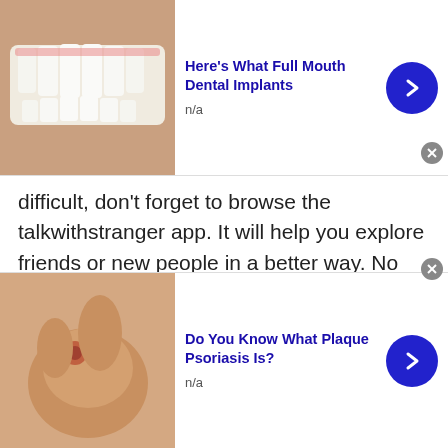[Figure (other): Top advertisement banner: dental implants ad with mouth/teeth image, title 'Here's What Full Mouth Dental Implants', n/a label, blue arrow button, close button]
difficult, don't forget to browse the talkwithstranger app. It will help you explore friends or new people in a better way. No doubt, it's simply amazing to experience a lot of fun and joy with millions of new people online!
Adult chat
Adult chat is all open for men and women who want to chit chat and learn new things via free online chat
[Figure (other): Bottom advertisement banner: plaque psoriasis ad with skin close-up image, title 'Do You Know What Plaque Psoriasis Is?', n/a label, blue arrow button, close button]